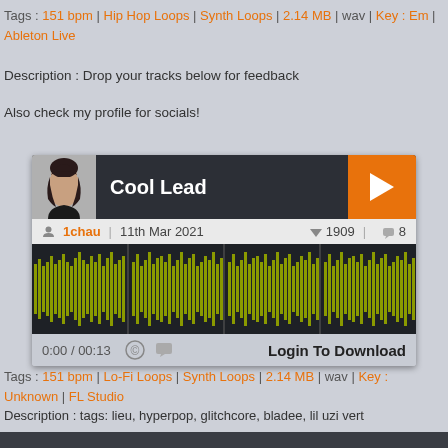Tags : 151 bpm | Hip Hop Loops | Synth Loops | 2.14 MB | wav | Key : Em | Ableton Live
Description : Drop your tracks below for feedback
Also check my profile for socials!
[Figure (screenshot): Audio player widget for 'Cool Lead' by 1chau, uploaded 11th Mar 2021. Shows profile thumbnail, play button, waveform visualization in olive/yellow-green, vote count 1909, comment count 8, time display 0:00 / 00:13, and Login To Download button.]
Tags : 151 bpm | Lo-Fi Loops | Synth Loops | 2.14 MB | wav | Key : Unknown | FL Studio
Description : tags: lieu, hyperpop, glitchcore, bladee, lil uzi vert